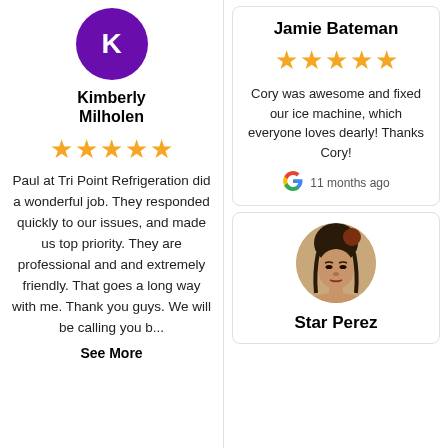[Figure (illustration): Purple circle avatar with white letter K]
Kimberly Milholen
[Figure (illustration): 5 gold stars rating]
Paul at Tri Point Refrigeration did a wonderful job. They responded quickly to our issues, and made us top priority. They are professional and and extremely friendly. That goes a long way with me. Thank you guys. We will be calling you b...
See More
Jamie Bateman
[Figure (illustration): 5 gold stars rating]
Cory was awesome and fixed our ice machine, which everyone loves dearly! Thanks Cory!
[Figure (logo): Google G logo]
11 months ago
[Figure (photo): Photo of Star Perez, a woman with braided hair]
Star Perez